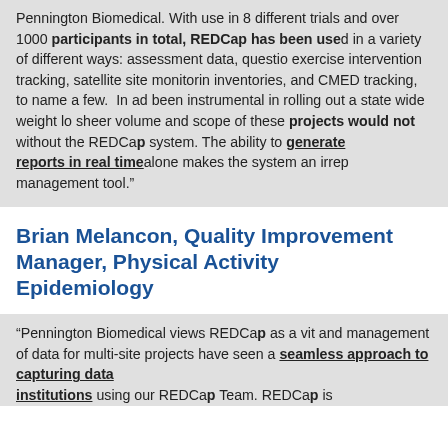Pennington Biomedical. With use in 8 different trials and over 1000 participants in total, REDCap has been used in a variety of different ways: assessment data, questionnaires, exercise intervention tracking, satellite site monitoring, inventories, and CMED tracking, to name a few. In addition, been instrumental in rolling out a state wide weight loss program. sheer volume and scope of these projects would not be possible without the REDCap system. The ability to generate reports in real time alone makes the system an irreplaceable management tool."
Brian Melancon, Quality Improvement Manager, Physical Activity Epidemiology
"Pennington Biomedical views REDCap as a vital tool and management of data for multi-site projects. We have seen a seamless approach to capturing data across institutions using our REDCap Team. REDCap is...